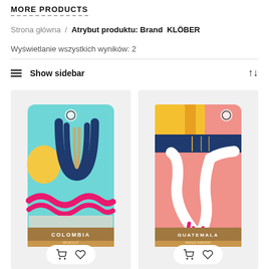MORE PRODUCTS
Strona główna / Atrybut produktu: Brand KLÖBER
Wyświetlanie wszystkich wyników: 2
☰ Show sidebar
[Figure (photo): Product card showing Colombia coffee bag with colorful abstract design (teal, navy, yellow, pink) and cart/wishlist buttons]
[Figure (photo): Product card showing Guatemala coffee bag with colorful abstract design (pink, navy, yellow, white) and cart/wishlist buttons]